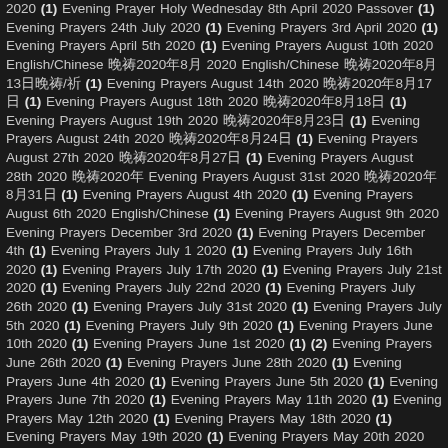2020 (1) Evening Prayer Holy Wednesday 8th April 2020 Passover (1) Evening Prayers 24th July 2020 (1) Evening Prayers 3rd April 2020 (1) Evening Prayers April 5th 2020 (1) Evening Prayers August 10th 2020 English/Chinese 晚祷2020年8月 2020 English/Chinese 晚祷2020年8月13日晚祷/祈 (1) Evening Prayers August 14th 2020 晚祷2020年8月17日 (1) Evening Prayers August 18th 2020 晚祷2020年8月18日 (1) Evening Prayers August 19th 2020 晚祷2020年8月23日 (1) Evening Prayers August 24th 2020 晚祷2020年8月24日 (1) Evening Prayers August 27th 2020 晚祷2020年8月27日 (1) Evening Prayers August 28th 2020 晚祷2020年 Evening Prayers August 31st 2020 晚祷2020年8月31日 (1) Evening Prayers August 4th 2020 (1) Evening Prayers August 6th 2020 English/Chinese (1) Evening Prayers August 9th 2020 Evening Prayers December 3rd 2020 (1) Evening Prayers December 4th (1) Evening Prayers July 1 2020 (1) Evening Prayers July 16th 2020 (1) Evening Prayers July 17th 2020 (1) Evening Prayers July 21st 2020 (1) Evening Prayers July 22nd 2020 (1) Evening Prayers July 26th 2020 (1) Evening Prayers July 31st 2020 (1) Evening Prayers July 5th 2020 (1) Evening Prayers July 9th 2020 (1) Evening Prayers June 10th 2020 (1) Evening Prayers June 1st 2020 (1) (2) Evening Prayers June 26th 2020 (1) Evening Prayers June 28th 2020 (1) Evening Prayers June 4th 2020 (1) Evening Prayers June 5th 2020 (1) Evening Prayers June 7th 2020 (1) Evening Prayers May 11th 2020 (1) Evening Prayers May 12th 2020 (1) Evening Prayers May 18th 2020 (1) Evening Prayers May 19th 2020 (1) Evening Prayers May 20th 2020 (1) Evening Prayers May 25th 2020 (1) Evening Prayers May 26th 2020 (1) Evening Prayers May 31st 2020 (1) Evening Prayers November 10th 2020 (1) Evening Prayers November Prayers November 15th 2020 (1) Evening Prayers November 16th 2020 (1) Evening Prayers Evening Prayers November 20th 2020 (1) Evening Prayers November 22th 2020 (1) Evening 2020 (1) Evening Prayers November 26th 2020 (1) Evening Prayers November 27th 2020 September 10th 2020 (1) Evening Prayers September 11th 2020 (1) Evening Prayers September 9月1日 (1) Evening Prayers September 6th 2020 (1) Evening Prayers September 7th 2020 (1)